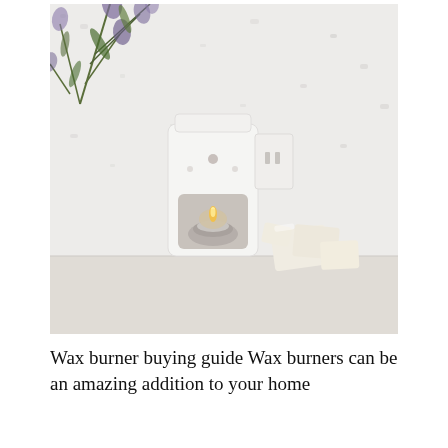[Figure (photo): A white ceramic wax burner with a lit tealight candle inside, placed on a light surface. To the right are several small ivory/cream wax melt cubes. In the upper left corner, green and purple lavender plant branches are visible. The background is a white textured wall.]
Wax burner buying guide Wax burners can be an amazing addition to your home